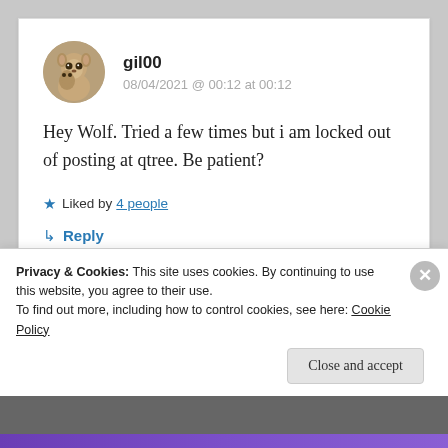gil00
08/04/2021 @ 00:12 at 00:12
Hey Wolf. Tried a few times but i am locked out of posting at qtree. Be patient?
★ Liked by 4 people
↳ Reply
Privacy & Cookies: This site uses cookies. By continuing to use this website, you agree to their use.
To find out more, including how to control cookies, see here: Cookie Policy
Close and accept